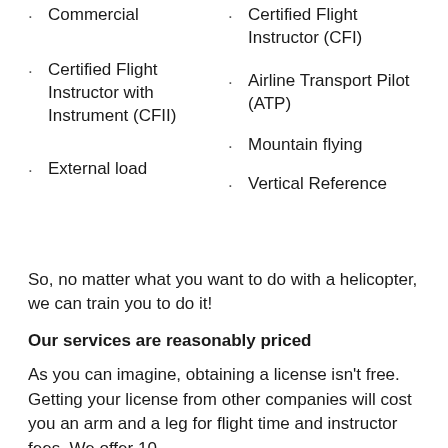Commercial
Certified Flight Instructor (CFI)
Certified Flight Instructor with Instrument (CFII)
Airline Transport Pilot (ATP)
External load
Mountain flying
Vertical Reference
So, no matter what you want to do with a helicopter, we can train you to do it!
Our services are reasonably priced
As you can imagine, obtaining a license isn't free. Getting your license from other companies will cost you an arm and a leg for flight time and instructor fees. We offer 10-